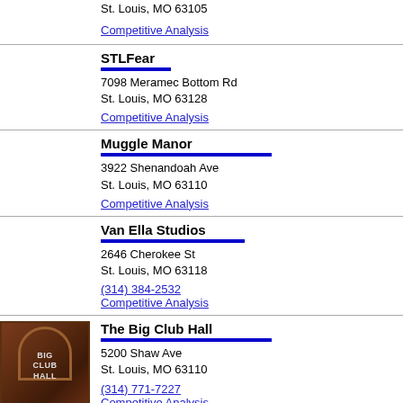St. Louis, MO 63105
Competitive Analysis
STLFear
7098 Meramec Bottom Rd
St. Louis, MO 63128
Competitive Analysis
Muggle Manor
3922 Shenandoah Ave
St. Louis, MO 63110
Competitive Analysis
Van Ella Studios
2646 Cherokee St
St. Louis, MO 63118
(314) 384-2532
Competitive Analysis
[Figure (photo): Photo of The Big Club Hall entrance sign with brick arch]
The Big Club Hall
5200 Shaw Ave
St. Louis, MO 63110
(314) 771-7227
Competitive Analysis